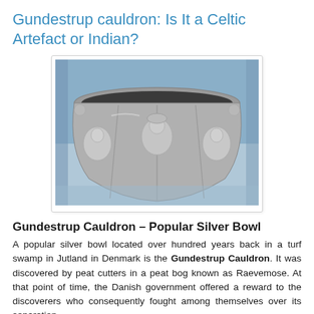Gundestrup cauldron: Is It a Celtic Artefact or Indian?
[Figure (photo): Photograph of the Gundestrup Cauldron, a large ornate silver bowl with embossed figures and scenes, displayed in what appears to be a museum setting.]
Gundestrup Cauldron – Popular Silver Bowl
A popular silver bowl located over hundred years back in a turf swamp in Jutland in Denmark is the Gundestrup Cauldron. It was discovered by peat cutters in a peat bog known as Raevemose. At that point of time, the Danish government offered a reward to the discoverers who consequently fought among themselves over its separation.